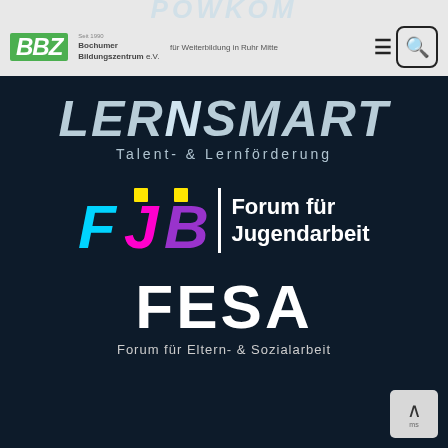[Figure (logo): BBZ Bochumer Bildungszentrum e.V. logo with green BBZ letters and text. Header also shows navigation hamburger icon and search box. Partially visible POWKOM text at top.]
[Figure (logo): LERNSMART logo in light blue italic bold text with subtitle Talent- & Lernförderung on dark background]
[Figure (logo): FJB Forum für Jugendarbeit logo with colorful F (cyan), J (magenta with yellow accent), B (purple) letters and white text on dark background]
[Figure (logo): FESA Forum für Eltern- & Sozialarbeit logo in white bold text on dark background]